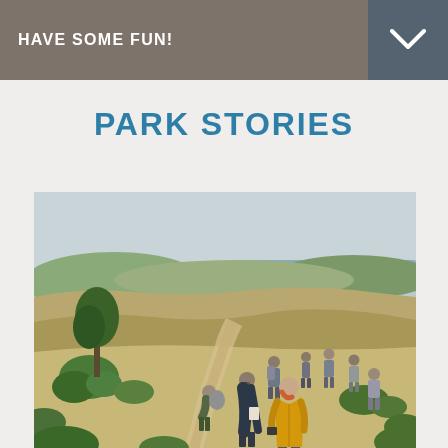HAVE SOME FUN!
PARK STORIES
[Figure (photo): Group of hikers walking along a dirt trail through open coastal scrubland with ocean visible in the background. A woman in a yellow jacket leads the group in the foreground, with others in outdoor gear behind her. Green shrubs, a lone tree on the left, and rolling hills under an overcast sky.]